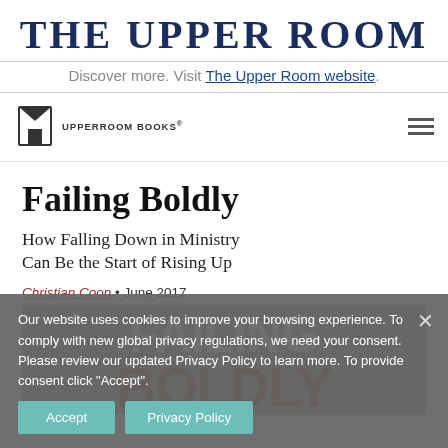THE UPPER ROOM
Discover more. Visit The Upper Room website.
[Figure (logo): Upper Room Books logo with book icon and text]
Failing Boldly
How Falling Down in Ministry Can Be the Start of Rising Up
Christian Coon • June 2017
[Figure (photo): Book cover of Failing Boldly showing the title text on grey background]
Our website uses cookies to improve your browsing experience. To comply with new global privacy regulations, we need your consent. Please review our updated Privacy Policy to learn more. To provide consent click "Accept".